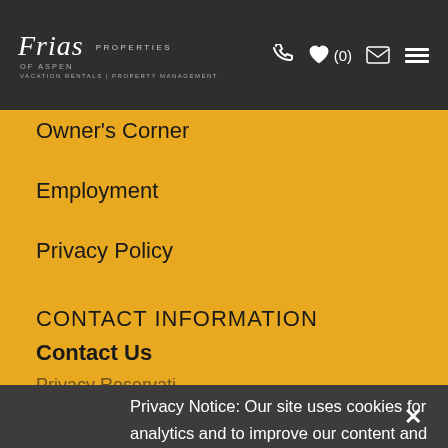Frias Properties of Aspen — Vacation Rentals | Property Management
Owner's Corner
Employment
Privacy Policy
CONTACT INFORMATION
Contact Us
Privacy Notice: Our site uses cookies for analytics and to improve our content and services. By continuing to use our site, you agree to our use of cookies. For more information, including how to change your settings, see our privacy policy.